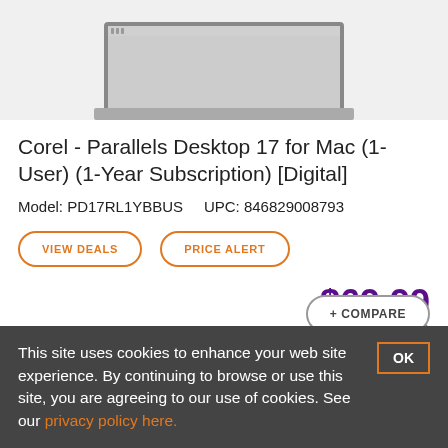[Figure (photo): Partial view of a laptop computer against a light gray background, showing the top portion of the screen and keyboard]
Corel - Parallels Desktop 17 for Mac (1-User) (1-Year Subscription) [Digital]
Model: PD17RL1YBBUS    UPC: 846829008793
VIEW DEALS   PRICE ALERT
$69.99
$79.99
You save $10.00
This site uses cookies to enhance your web site experience. By continuing to browse or use this site, you are agreeing to our use of cookies. See our privacy policy here.